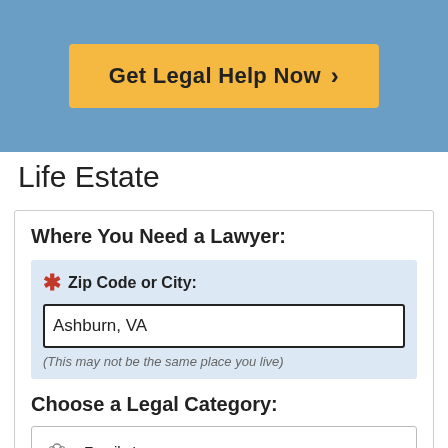[Figure (other): Orange button labeled 'Get Legal Help Now >' on a blue background header]
Life Estate
Where You Need a Lawyer:
* Zip Code or City: Ashburn, VA (This may not be the same place you live)
Choose a Legal Category:
Family Law
Real Estate and Property Law
Criminal Law
Personal Injury
Employment
Defective Products